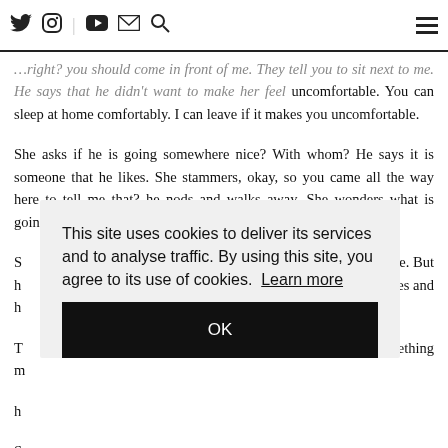Twitter | Instagram | YouTube | Email | Search | Hamburger menu
uncomfortable. You can sleep at home comfortably. I can leave if it makes you uncomfortable.
She asks if he is going somewhere nice? With whom? He says it is someone that he likes. She stammers, okay, so you came all the way here to tell me that? he nods and walks away. She wonders what is going on, so he likes someone?
S ... e. But h ... es and h ...
T ... ething m ...
h ...
S ... v-pong is not ping nor pong?
This site uses cookies to deliver its services and to analyse traffic. By using this site, you agree to its use of cookies. Learn more
OK